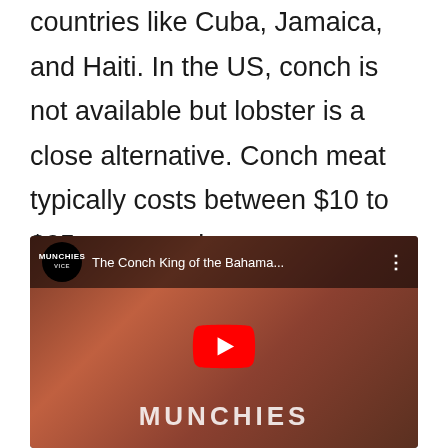countries like Cuba, Jamaica, and Haiti. In the US, conch is not available but lobster is a close alternative. Conch meat typically costs between $10 to $25 per pound.
[Figure (screenshot): YouTube video embed showing 'The Conch King of the Bahama...' from the MUNCHIES channel, with a play button overlay on a video thumbnail showing a man in a red shirt holding conch shells.]